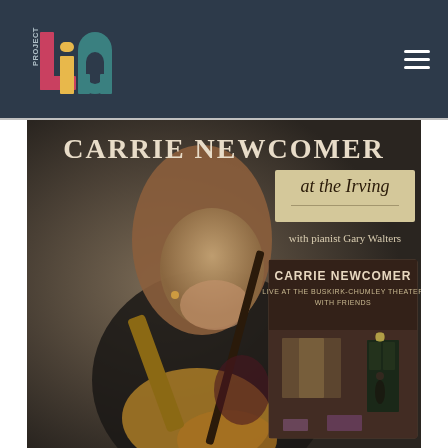[Figure (logo): Project LIA logo — colorful block letters spelling PROJECT LIA with overlapping geometric shapes in teal, yellow, and pink/red on dark navy background]
[Figure (photo): Promotional image for Carrie Newcomer performing at the Irving with pianist Gary Walters. Shows Carrie Newcomer playing acoustic guitar, smiling downward. Text overlay reads CARRIE NEWCOMER, at the Irving, with pianist Gary Walters. Inset album cover shows CARRIE NEWCOMER LIVE AT THE BUSKIRK-CHUMLEY THEATER WITH FRIENDS, depicting a figure standing in a doorway of a brick building.]